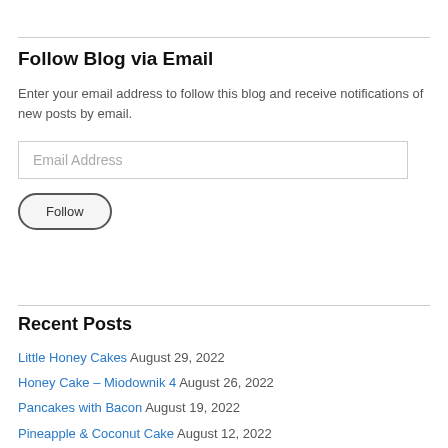Follow Blog via Email
Enter your email address to follow this blog and receive notifications of new posts by email.
Recent Posts
Little Honey Cakes August 29, 2022
Honey Cake – Miodownik 4 August 26, 2022
Pancakes with Bacon August 19, 2022
Pineapple & Coconut Cake August 12, 2022
Courgette Cake – Version 2 August 5, 2022